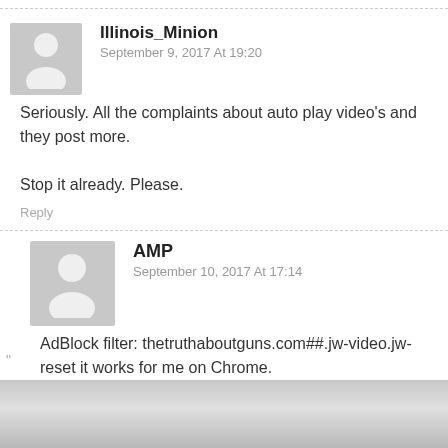Illinois_Minion
September 9, 2017 At 19:20
Seriously. All the complaints about auto play video's and they post more.

Stop it already. Please.
Reply
AMP
September 10, 2017 At 17:14
AdBlock filter: thetruthaboutguns.com##.jw-video.jw-reset it works for me on Chrome.
(But I agree they keep doing it despite our complains, not sure if they don't care or get
[Figure (photo): Partial grayscale image at bottom of page, cropped]